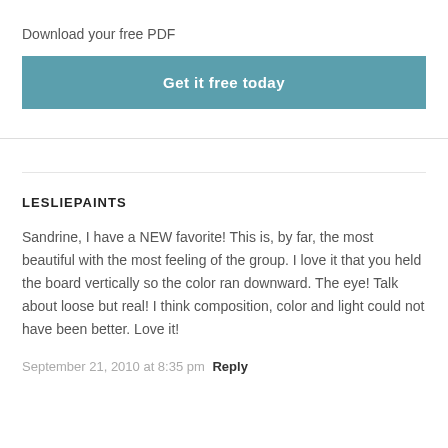×
Download your free PDF
Get it free today
LESLIEPAINTS
Sandrine, I have a NEW favorite! This is, by far, the most beautiful with the most feeling of the group. I love it that you held the board vertically so the color ran downward. The eye! Talk about loose but real! I think composition, color and light could not have been better. Love it!
September 21, 2010 at 8:35 pm Reply